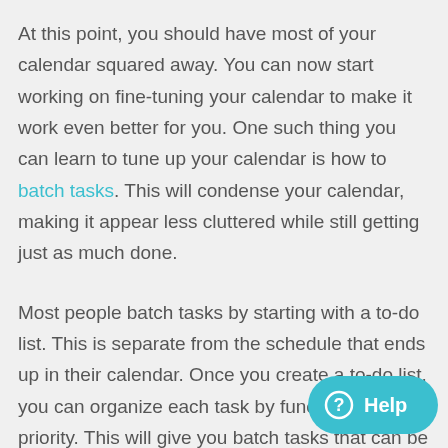At this point, you should have most of your calendar squared away. You can now start working on fine-tuning your calendar to make it work even better for you. One such thing you can learn to tune up your calendar is how to batch tasks. This will condense your calendar, making it appear less cluttered while still getting just as much done.
Most people batch tasks by starting with a to-do list. This is separate from the schedule that ends up in their calendar. Once you create a to-do list, you can organize each task by function and priority. This will give you batch tasks that can be added to larger time